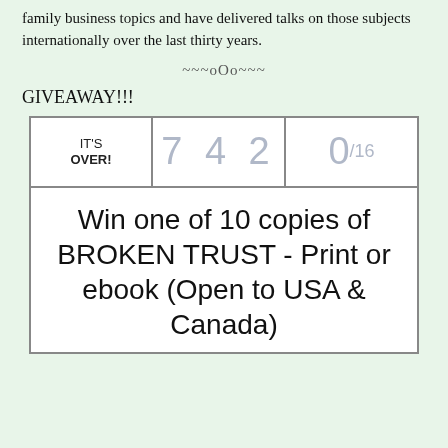family business topics and have delivered talks on those subjects internationally over the last thirty years.
~~~oOo~~~
GIVEAWAY!!!
| IT'S OVER! | 742 | 0/16 |
| --- | --- | --- |
| Win one of 10 copies of BROKEN TRUST - Print or ebook (Open to USA & Canada) |  |  |